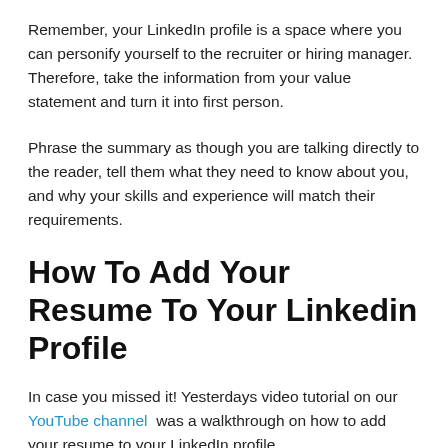Remember, your LinkedIn profile is a space where you can personify yourself to the recruiter or hiring manager. Therefore, take the information from your value statement and turn it into first person.
Phrase the summary as though you are talking directly to the reader, tell them what they need to know about you, and why your skills and experience will match their requirements.
How To Add Your Resume To Your Linkedin Profile
In case you missed it! Yesterdays video tutorial on our YouTube channel was a walkthrough on how to add your resume to your LinkedIn profile.